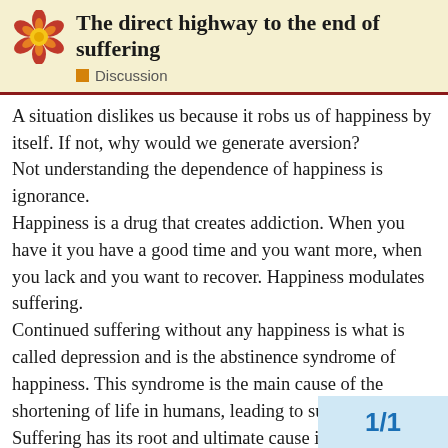The direct highway to the end of suffering
Discussion
A situation dislikes us because it robs us of happiness by itself. If not, why would we generate aversion?
Not understanding the dependence of happiness is ignorance.
Happiness is a drug that creates addiction. When you have it you have a good time and you want more, when you lack and you want to recover. Happiness modulates suffering.
Continued suffering without any happiness is what is called depression and is the abstinence syndrome of happiness. This syndrome is the main cause of the shortening of life in humans, leading to suicide.
Suffering has its root and ultimate cause in happiness.
This is the second new truth.
Happiness hurts, happiness kills. It damages those who suffer from it and those around it. It is th... that kills the most and causes more suffering. And yet
1/1